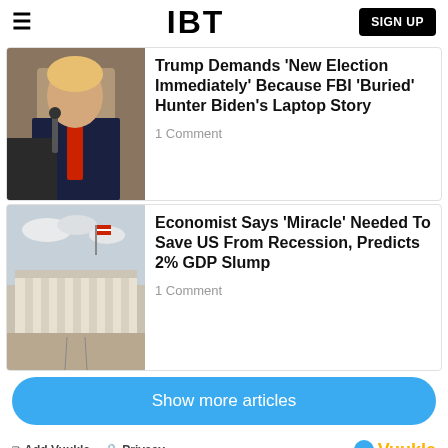IBT
Trump Demands 'New Election Immediately' Because FBI 'Buried' Hunter Biden's Laptop Story
1 Comment
Economist Says 'Miracle' Needed To Save US From Recession, Predicts 2% GDP Slump
1 Comment
Show more articles
Add Vuukle  Privacy  Vuukle